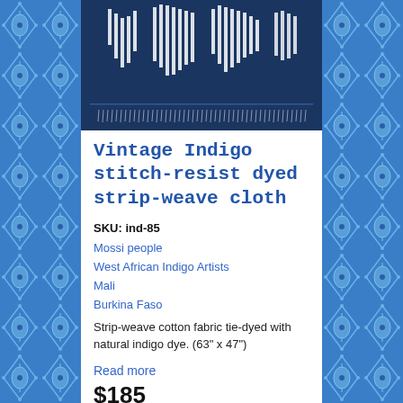[Figure (photo): Side panels showing indigo blue batik/tie-dye fabric pattern with oval and diamond geometric designs]
[Figure (photo): Product photo of vintage indigo stitch-resist dyed strip-weave cloth, dark navy/indigo fabric with white resist-dyed stripe patterns and fringe at bottom]
Vintage Indigo stitch-resist dyed strip-weave cloth
SKU: ind-85
Mossi people
West African Indigo Artists
Mali
Burkina Faso
Strip-weave cotton fabric tie-dyed with natural indigo dye. (63" x 47")
Read more
$185